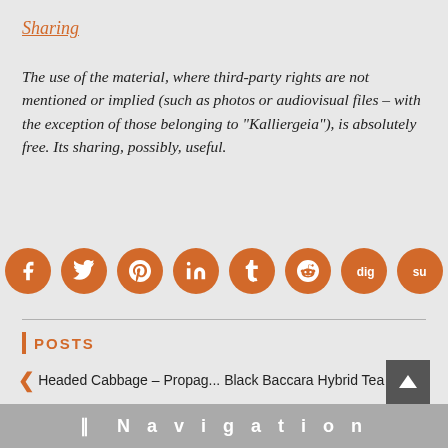Sharing
The use of the material, where third-party rights are not mentioned or implied (such as photos or audiovisual files – with the exception of those belonging to "Kalliergeia"), is absolutely free. Its sharing, possibly, useful.
[Figure (infographic): Row of 8 orange social media share buttons (circles): Facebook, Twitter, Pinterest, LinkedIn, Tumblr, Reddit, Digg, StumbleUpon]
POSTS
< Headed Cabbage – Propag... Black Baccara Hybrid Tea R... >
Navigation